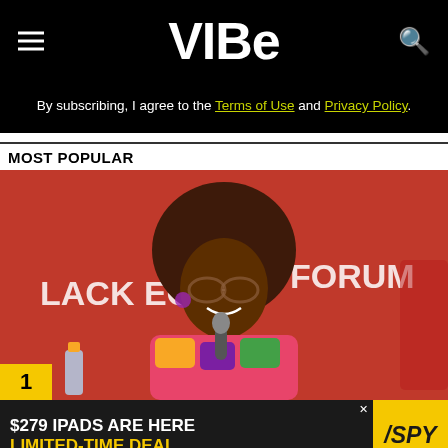VIBE
By subscribing, I agree to the Terms of Use and Privacy Policy.
MOST POPULAR
[Figure (photo): Woman with large afro hairstyle wearing colorful floral dress and orange-tinted glasses, holding a microphone, at the Black Economic Forum event with red backdrop]
1
$279 IPADS ARE HERE LIMITED-TIME DEAL